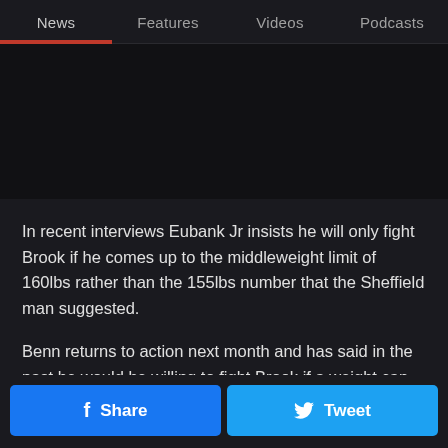News | Features | Videos | Podcasts
[Figure (photo): Dark image area placeholder]
In recent interviews Eubank Jr insists he will only fight Brook if he comes up to the middleweight limit of 160lbs rather than the 155lbs number that the Sheffield man suggested.
Benn returns to action next month and has said in the past he would be willing to fight Brook if a weight can be agreed on.
Share | Tweet